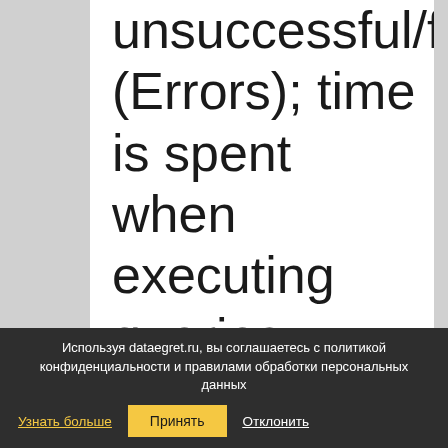unsuccessful/faulty (Errors); time is spent when executing queries (Duration); queries are
Используя dataegret.ru, вы соглашаетесь с политикой конфиденциальности и правилами обработки персональных данных  Узнать больше  Принять  Отклонить